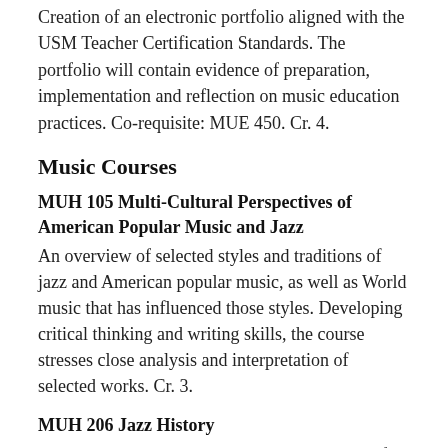Creation of an electronic portfolio aligned with the USM Teacher Certification Standards. The portfolio will contain evidence of preparation, implementation and reflection on music education practices. Co-requisite: MUE 450. Cr. 4.
Music Courses
MUH 105 Multi-Cultural Perspectives of American Popular Music and Jazz
An overview of selected styles and traditions of jazz and American popular music, as well as World music that has influenced those styles. Developing critical thinking and writing skills, the course stresses close analysis and interpretation of selected works. Cr. 3.
MUH 206 Jazz History
This course provides an in-depth examination of